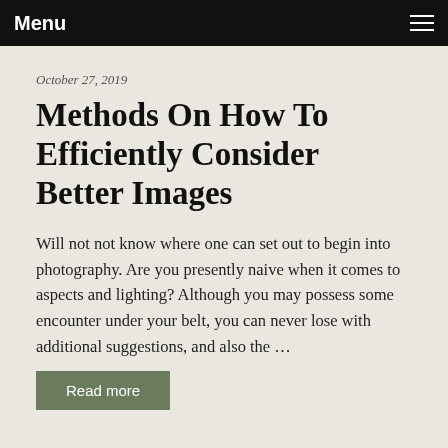Menu
October 27, 2019
Methods On How To Efficiently Consider Better Images
Will not not know where one can set out to begin into photography. Are you presently naive when it comes to aspects and lighting? Although you may possess some encounter under your belt, you can never lose with additional suggestions, and also the …
Read more